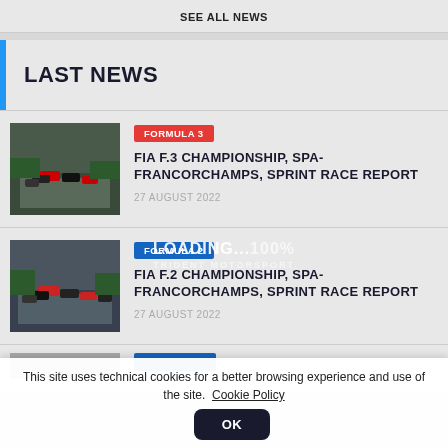SEE ALL NEWS
LAST NEWS
[Figure (photo): Formula 3 race cars on track, aerial view]
FORMULA 3
FIA F.3 CHAMPIONSHIP, SPA-FRANCORCHAMPS, SPRINT RACE REPORT
27 AUGUST 2022
[Figure (photo): Formula 2 race cars on track, aerial view]
FORMULA 2
FIA F.2 CHAMPIONSHIP, SPA-FRANCORCHAMPS, SPRINT RACE REPORT
27 AUGUST 2022
This site uses technical cookies for a better browsing experience and use of the site. Cookie Policy